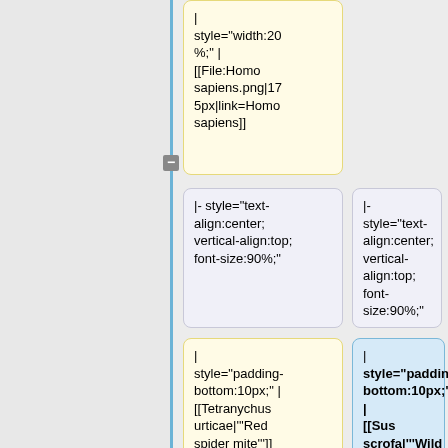| style="width:20%;" | [[File:Homo sapiens.png|175px|link=Homo sapiens]]
|- style="text-align:center; vertical-align:top; font-size:90%;"
|- style="text-align:center; vertical-align:top; font-size:90%;"
| style="padding-bottom:10px;" | [[Tetranychus urticae|'''Red spider mite''']] <br/>Tetranychus urticae
| style="padding-bottom:10px;" | [[Sus scrofa|'''Wild boar''']] <br/>'''Sus scrofa'''
|
| style="padding-